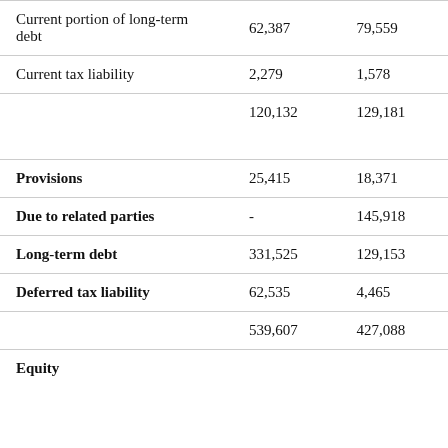|  | Col1 | Col2 |
| --- | --- | --- |
| Current portion of long-term debt | 62,387 | 79,559 |
| Current tax liability | 2,279 | 1,578 |
|  | 120,132 | 129,181 |
| Provisions | 25,415 | 18,371 |
| Due to related parties | - | 145,918 |
| Long-term debt | 331,525 | 129,153 |
| Deferred tax liability | 62,535 | 4,465 |
|  | 539,607 | 427,088 |
| Equity |  |  |